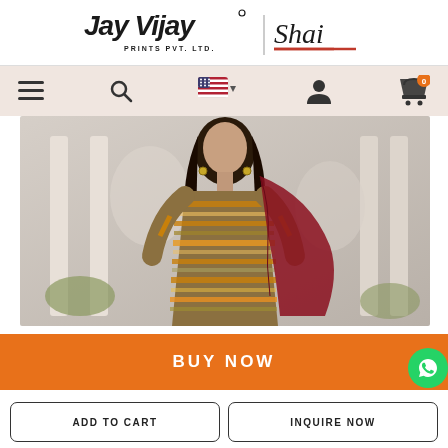[Figure (logo): Jay Vijay Prints Pvt. Ltd. logo on the left with a vertical divider and 'Shai' script logo on the right with a red underline]
[Figure (screenshot): Navigation bar with hamburger menu, search icon, US flag language selector, user account icon, and shopping bag icon with orange badge showing 0]
[Figure (photo): Photo of a woman wearing a striped olive/brown/orange ethnic kurti with a dark red dupatta, posed in front of white decorative columns and foliage backdrop]
BUY NOW
ADD TO CART
INQUIRE NOW